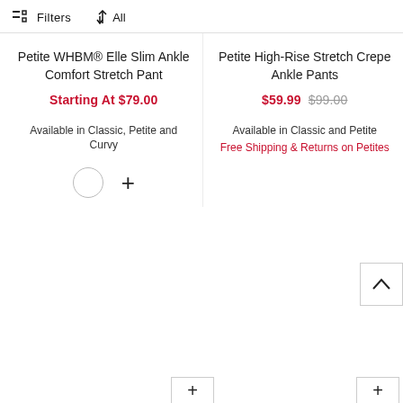Filters   ↑↓ All
Petite WHBM® Elle Slim Ankle Comfort Stretch Pant
Starting At $79.00
Available in Classic, Petite and Curvy
Petite High-Rise Stretch Crepe Ankle Pants
$59.99 $99.00
Available in Classic and Petite
Free Shipping & Returns on Petites